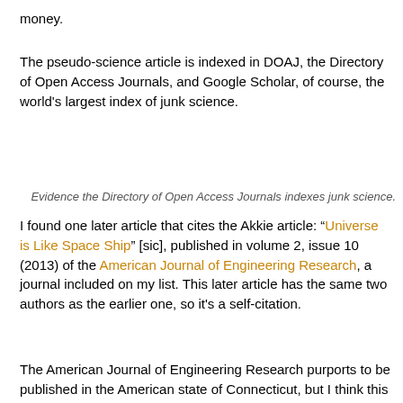money.
The pseudo-science article is indexed in DOAJ, the Directory of Open Access Journals, and Google Scholar, of course, the world's largest index of junk science.
Evidence the Directory of Open Access Journals indexes junk science.
I found one later article that cites the Akkie article: “Universe is Like Space Ship” [sic], published in volume 2, issue 10 (2013) of the American Journal of Engineering Research, a journal included on my list. This later article has the same two authors as the earlier one, so it’s a self-citation.
The American Journal of Engineering Research purports to be published in the American state of Connecticut, but I think this is a